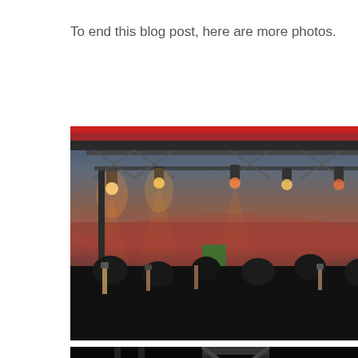To end this blog post, here are more photos.
[Figure (photo): Outdoor concert stage viewed from the crowd. Red banner visible at top, metal truss rigging with warm stage lights illuminating the stage. Performer visible in green jacket at center-left. Crowd members with raised arms and phones in the foreground.]
[Figure (photo): Concert stage with smoke effects and dramatic lighting. Performer in green jacket and white pants stands center stage with microphone. Crowd members including a red-haired person visible in the foreground.]
[Figure (photo): Dark concert stage close-up showing metal truss/scaffolding structure with bright red stage lights. Very dark atmospheric shot.]
[Figure (photo): Concert scene with purple and pink stage lights. A person holds up a smartphone to record the performance. Colorful light effects visible in the background.]